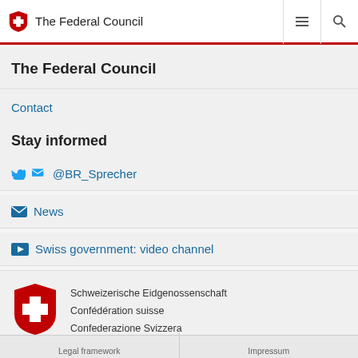The Federal Council
The Federal Council
Contact
Stay informed
@BR_Sprecher
News
Swiss government: video channel
[Figure (logo): Swiss Confederation logo: red shield with white cross, with four language names of the Swiss Confederation]
Schweizerische Eidgenossenschaft
Confédération suisse
Confederazione Svizzera
Confederaziun svizra
Legal framework   Impressum